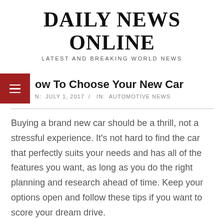DAILY NEWS ONLINE
LATEST AND BREAKING WORLD NEWS
How To Choose Your New Car
N:  JULY 1, 2017  /  IN:  AUTOMOTIVE NEWS
Buying a brand new car should be a thrill, not a stressful experience. It's not hard to find the car that perfectly suits your needs and has all of the features you want, as long as you do the right planning and research ahead of time. Keep your options open and follow these tips if you want to score your dream drive.
[Figure (photo): Partial photo of a person near a car, visible at the bottom of the page]